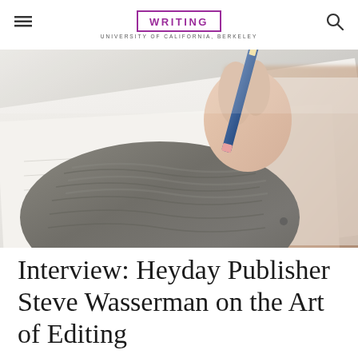WRITING — University of California, Berkeley
[Figure (photo): Close-up photo of a hand in a grey knit sweater sleeve holding a blue pencil, writing on paper, with a clipboard and papers in the background, shallow depth of field]
Interview: Heyday Publisher Steve Wasserman on the Art of Editing